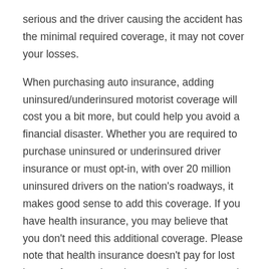serious and the driver causing the accident has the minimal required coverage, it may not cover your losses.
When purchasing auto insurance, adding uninsured/underinsured motorist coverage will cost you a bit more, but could help you avoid a financial disaster. Whether you are required to purchase uninsured or underinsured driver insurance or must opt-in, with over 20 million uninsured drivers on the nation's roadways, it makes good sense to add this coverage. If you have health insurance, you may believe that you don't need this additional coverage. Please note that health insurance doesn't pay for lost income from work and many other losses, such as pain and suffering.